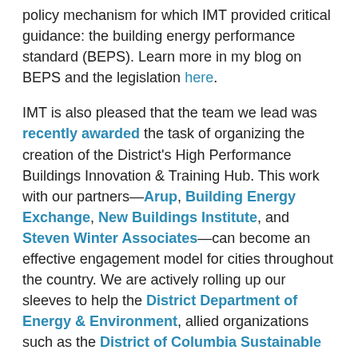policy mechanism for which IMT provided critical guidance: the building energy performance standard (BEPS). Learn more in my blog on BEPS and the legislation here.
IMT is also pleased that the team we lead was recently awarded the task of organizing the creation of the District's High Performance Buildings Innovation & Training Hub. This work with our partners—Arup, Building Energy Exchange, New Buildings Institute, and Steven Winter Associates—can become an effective engagement model for cities throughout the country. We are actively rolling up our sleeves to help the District Department of Energy & Environment, allied organizations such as the District of Columbia Sustainable Energy Utility, and the private sector put the District's new law into effect effectively and efficiently.